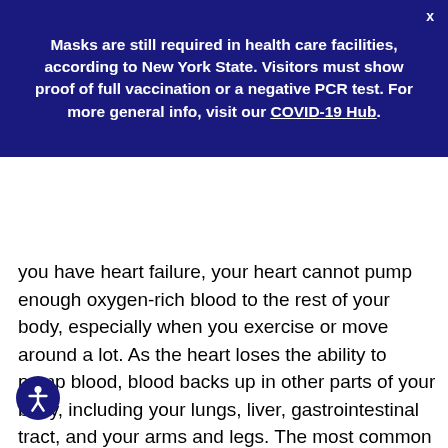Masks are still required in health care facilities, according to New York State. Visitors must show proof of full vaccination or a negative PCR test. For more general info, visit our COVID-19 Hub.
you have heart failure, your heart cannot pump enough oxygen-rich blood to the rest of your body, especially when you exercise or move around a lot. As the heart loses the ability to pump blood, blood backs up in other parts of your body, including your lungs, liver, gastrointestinal tract, and your arms and legs. The most common cause of heart failure is coronary artery disease, the narrowing of the blood vessels that supply blood and oxygen to your heart. So, how do you know if you have heart failure? Get to your doctor. You may have trouble breathing, an irregular heartbeat, swollen legs, neck veins that stick out, and sounds from fluid